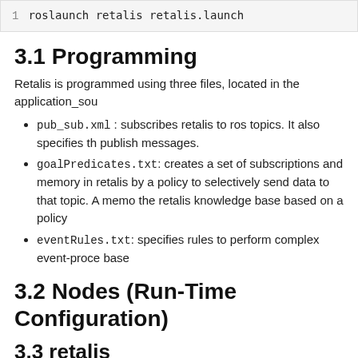1 roslaunch retalis retalis.launch
3.1 Programming
Retalis is programmed using three files, located in the application_sou
pub_sub.xml : subscribes retalis to ros topics. It also specifies th publish messages.
goalPredicates.txt: creates a set of subscriptions and memory in retalis by a policy to selectively send data to that topic. A memo the retalis knowledge base based on a policy
eventRules.txt: specifies rules to perform complex event-proce base
3.2 Nodes (Run-Time Configuration)
3.3 retalis
This node implements main functionalities.
3.3.1 Services
add_output_subscription (retalis/AddOutputSubscription)